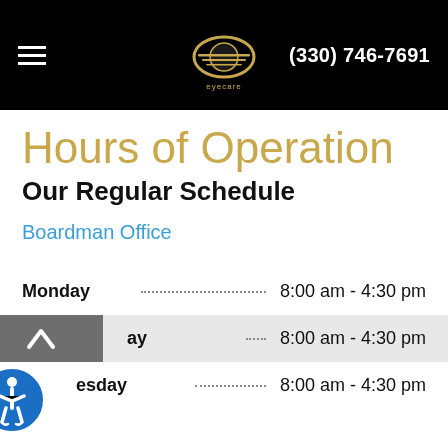(330) 746-7691
Hours of Operation
Our Regular Schedule
Boardman Office
Monday   8:00 am - 4:30 pm
...ay   8:00 am - 4:30 pm
...esday   8:00 am - 4:30 pm